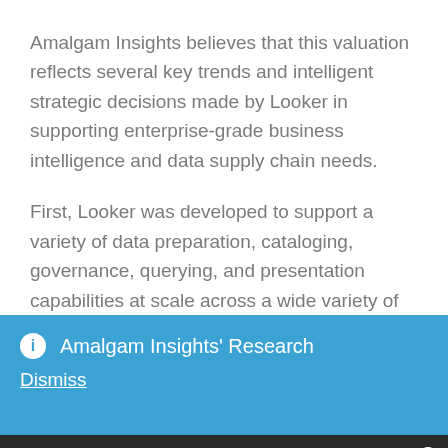Amalgam Insights believes that this valuation reflects several key trends and intelligent strategic decisions made by Looker in supporting enterprise-grade business intelligence and data supply chain needs.
First, Looker was developed to support a variety of data preparation, cataloging, governance, querying, and presentation capabilities at scale across a wide variety of data sources and formats. This approach reflects Looker's purpose of being a data platform built for a new generation of data analysts based on the volume...
ℹ Amalgam Insights' Research
Dismiss
[user icon] [search icon] [cart icon 0]